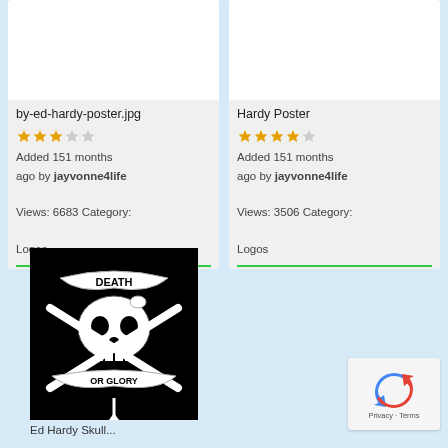[Figure (screenshot): Thumbnail placeholder for by-ed-hardy-poster.jpg]
by-ed-hardy-poster.jpg
[Figure (other): 3 out of 5 stars rating]
Added 151 months ago by jayvonne4life
Views: 6683 Category: Logos
[Figure (screenshot): Thumbnail placeholder for Hardy Poster]
Hardy Poster
[Figure (other): 4 out of 5 stars rating]
Added 151 months ago by jayvonne4life
Views: 3506 Category: Logos
[Figure (illustration): Black and white Ed Hardy skull and crossbones illustration with banner reading DEATH OR GLORY]
Ed Hardy Skull...
[Figure (other): reCAPTCHA widget with Privacy and Terms links]